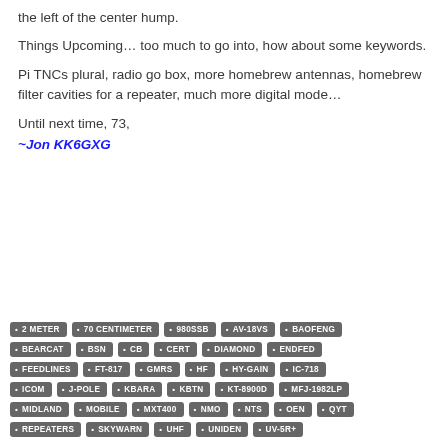the left of the center hump.
Things Upcoming… too much to go into, how about some keywords.
Pi TNCs plural, radio go box, more homebrew antennas, homebrew filter cavities for a repeater, much more digital mode…
Until next time, 73,
~Jon KK6GXG
2 METER
70 CENTIMETER
980SSB
AV-18VS
BAOFENG
BEARCAT
BSN
CB
CERT
DIAMOND
ENDFED
FEEDLINES
FT-817
GMRS
HF
HY-GAIN
IC-718
ICOM
J-POLE
KBARA
KBTN
KT-8900D
MFJ-1982LP
MIDLAND
MOBILE
MXT400
NMO
NTS
OEN
QYT
REPEATERS
SKYWARN
UHF
UNIDEN
UV-5R+